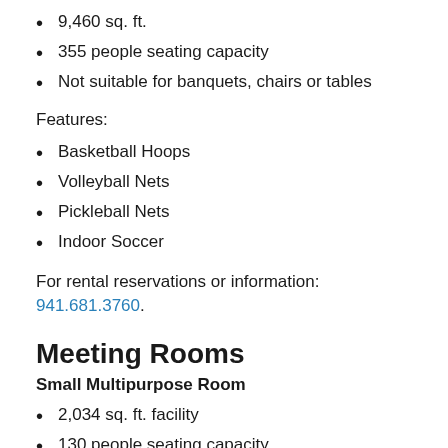9,460 sq. ft.
355 people seating capacity
Not suitable for banquets, chairs or tables
Features:
Basketball Hoops
Volleyball Nets
Pickleball Nets
Indoor Soccer
For rental reservations or information: 941.681.3760.
Meeting Rooms
Small Multipurpose Room
2,034 sq. ft. facility
130 people seating capacity